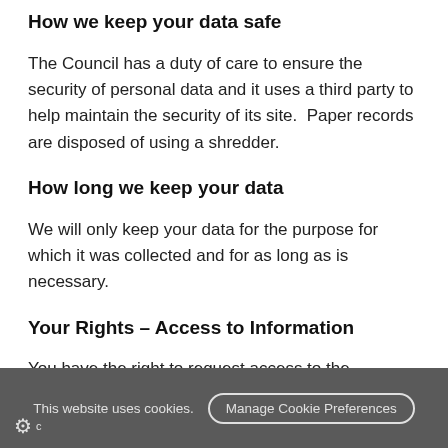How we keep your data safe
The Council has a duty of care to ensure the security of personal data and it uses a third party to help maintain the security of its site.  Paper records are disposed of using a shredder.
How long we keep your data
We will only keep your data for the purpose for which it was collected and for as long as is necessary.
Your Rights – Access to Information
You have the right to request access to the information we have on you. You will be required to provide proof of
This website uses cookies.  Manage Cookie Preferences